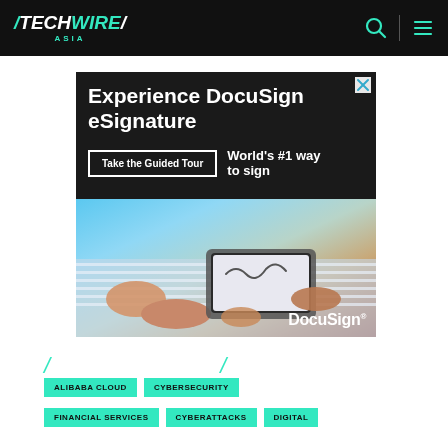TechWire Asia — navigation bar with logo, search icon, and menu icon
[Figure (screenshot): DocuSign eSignature advertisement banner. Dark background with white text reading 'Experience DocuSign eSignature', a 'Take the Guided Tour' button, tagline 'World's #1 way to sign', a photo of someone signing on a tablet while relaxing outdoors, and DocuSign logo at bottom right. Close button (X) at top right.]
/ /
ALIBABA CLOUD
CYBERSECURITY
FINANCIAL SERVICES
CYBERATTACKS
DIGITAL